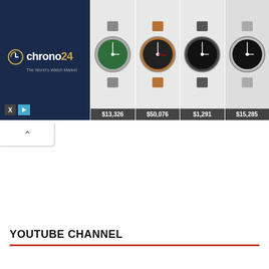[Figure (screenshot): Chrono24 advertisement banner showing luxury watches with prices: $13,326, $50,076, $1,291, $15,285. Left panel has Chrono24 logo and tagline 'The World's Watch Market' on dark navy background.]
[Figure (other): Collapse/minimize button with upward caret arrow]
YOUTUBE CHANNEL